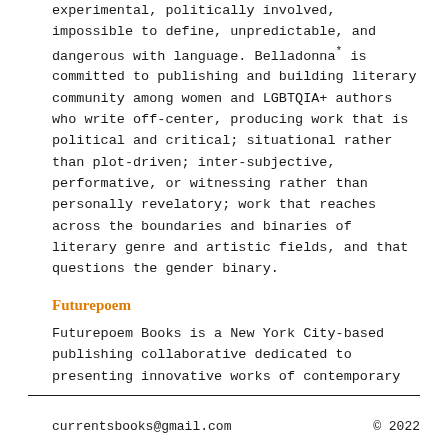experimental, politically involved, impossible to define, unpredictable, and dangerous with language. Belladonna* is committed to publishing and building literary community among women and LGBTQIA+ authors who write off-center, producing work that is political and critical; situational rather than plot-driven; inter-subjective, performative, or witnessing rather than personally revelatory; work that reaches across the boundaries and binaries of literary genre and artistic fields, and that questions the gender binary.
Futurepoem
Futurepoem Books is a New York City-based publishing collaborative dedicated to presenting innovative works of contemporary
currentsbooks@gmail.com   © 2022